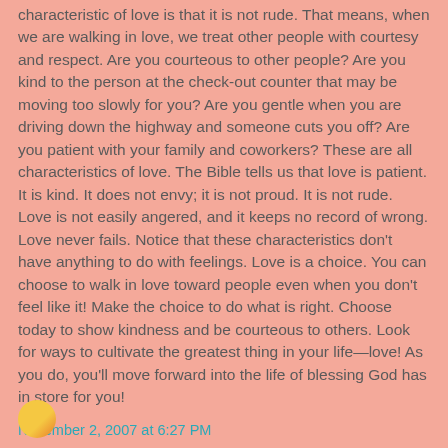characteristic of love is that it is not rude. That means, when we are walking in love, we treat other people with courtesy and respect. Are you courteous to other people? Are you kind to the person at the check-out counter that may be moving too slowly for you? Are you gentle when you are driving down the highway and someone cuts you off? Are you patient with your family and coworkers? These are all characteristics of love. The Bible tells us that love is patient. It is kind. It does not envy; it is not proud. It is not rude. Love is not easily angered, and it keeps no record of wrong. Love never fails. Notice that these characteristics don't have anything to do with feelings. Love is a choice. You can choose to walk in love toward people even when you don't feel like it! Make the choice to do what is right. Choose today to show kindness and be courteous to others. Look for ways to cultivate the greatest thing in your life—love! As you do, you'll move forward into the life of blessing God has in store for you!
November 2, 2007 at 6:27 PM
gayuganda said...